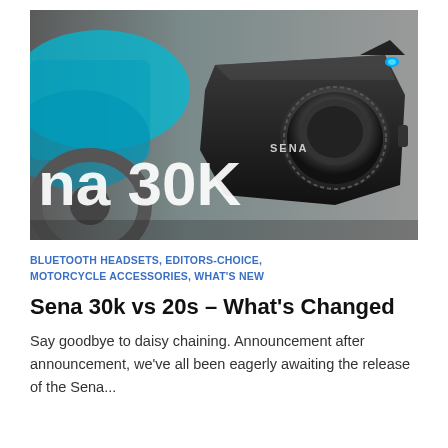[Figure (photo): Hero image showing a Sena 30K Bluetooth motorcycle helmet intercom mounted on a motorcycle. The device is black with the SENA logo visible. The background shows a blue and grey motorcycle. Large white text 'na 30K' is overlaid on the left side of the image.]
BLUETOOTH HEADSETS, EDITORS-CHOICE, MOTORCYCLE ACCESSORIES, WHAT'S NEW
Sena 30k vs 20s – What's Changed
Say goodbye to daisy chaining. Announcement after announcement, we've all been eagerly awaiting the release of the Sena...